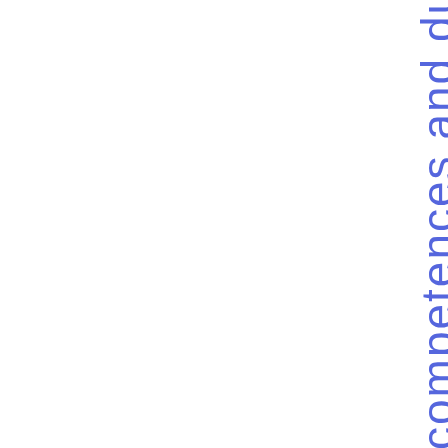competences and duties relating to certain data reporting services providers from NCA's to ESM